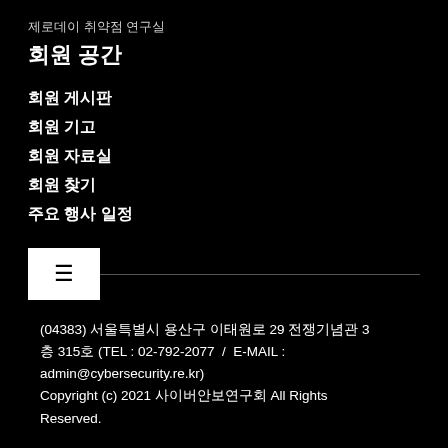제로데이 취약점 연구실
회원 공간
회원 게시판
회원 기고
회원 자료실
회원 찾기
주요 행사 일정
[Figure (infographic): White hamburger menu button with three horizontal lines, followed by a horizontal gray divider line]
(04383) 서울특별시 용산구 이태원로 29 전쟁기념관 3층 315호 (TEL : 02-792-2077  /  E-MAIL : admin@cybersecurity.re.kr)
Copyright (c) 2021 사이버안보연구회 All Rights Reserved.